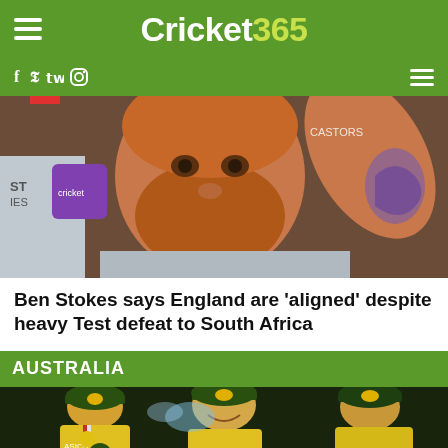Cricket 365
[Figure (photo): Navigation bar with hamburger menu icon on left, Cricket365 logo in center on green background]
[Figure (photo): Social media bar with Facebook, Twitter, Instagram icons on green background, hamburger menu on right]
[Figure (photo): Ben Stokes cricketer close-up photo, red-bearded man with arm raised, tattoo visible, cricket press conference backdrop]
Ben Stokes says England are ‘aligned’ despite heavy Test defeat to South Africa
AUSTRALIA
[Figure (photo): Australian women's cricket team celebrating in yellow uniforms, wearing green caps with Australian logo, spraying water/champagne]